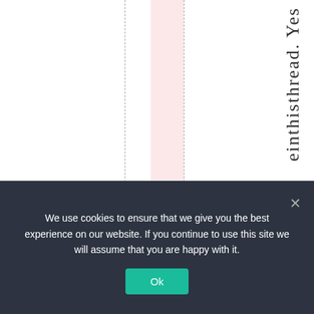[Figure (screenshot): Web page layout showing vertical dashed lines, a pink highlighted column, and vertical text reading 'einthisthread. Yes' on the right side.]
We use cookies to ensure that we give you the best experience on our website. If you continue to use this site we will assume that you are happy with it.
Ok